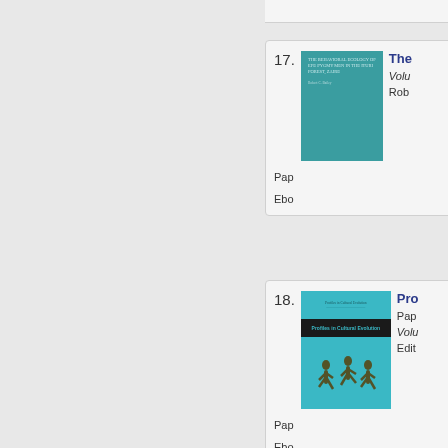17. The Behavioral Ecology of Efe Pygmy Men in the Ituri Forest, Zaire — Volume ... Rob... Paperback ... Ebook ...
[Figure (photo): Book cover for The Behavioral Ecology of Efe Pygmy Men in the Ituri Forest, Zaire — teal/green cover]
18. Profiles in Cultural Evolution — Paperback Volume ... Edited ... Ebook ...
[Figure (photo): Book cover for Profiles in Cultural Evolution — cyan cover with silhouettes of running figures]